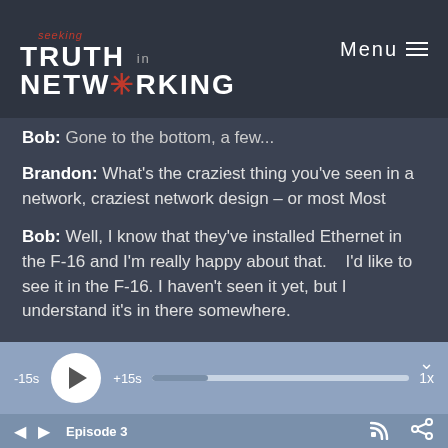seeking Truth in Networking | Menu
Bob: Gone to the bottom, a few...
Brandon: What's the craziest thing you've seen in a network, craziest network design – or most Most
Bob: Well, I know that they've installed Ethernet in the F-16 and I'm really happy about that.   I'd like to see it in the F-16. I haven't seen it yet, but I understand it's in there somewhere.
[Figure (screenshot): Podcast audio player bar with -15s skip back, play button, +15s skip forward, progress bar, and 1x speed control]
◄  ►  Episode 3